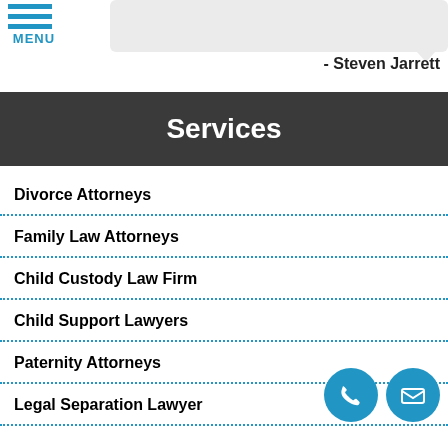[Figure (screenshot): Mobile website screenshot showing menu icon with three blue horizontal lines and MENU text]
- Steven Jarrett
Services
Divorce Attorneys
Family Law Attorneys
Child Custody Law Firm
Child Support Lawyers
Paternity Attorneys
Legal Separation Lawyer